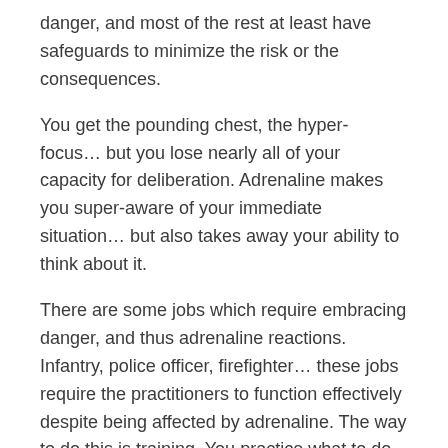danger, and most of the rest at least have safeguards to minimize the risk or the consequences.
You get the pounding chest, the hyper-focus… but you lose nearly all of your capacity for deliberation. Adrenaline makes you super-aware of your immediate situation… but also takes away your ability to think about it.
There are some jobs which require embracing danger, and thus adrenaline reactions. Infantry, police officer, firefighter… these jobs require the practitioners to function effectively despite being affected by adrenaline. The way to do this is training. You practice what to do, over and over, while you're not in danger and therefore able to use your full faculties. Then, when you are in actual danger, and the adrenaline starts to take away your ability to think clearly, the training kicks in. You know what to do because you've practiced it so many times you don't HAVE to think about what to do. This is why there are fire drills, and tornado drills (where appropriate) and earthquake drills (ditto).
What was the point of this comment? Look at the events